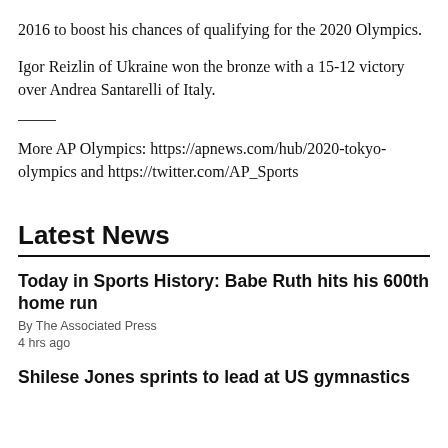2016 to boost his chances of qualifying for the 2020 Olympics.
Igor Reizlin of Ukraine won the bronze with a 15-12 victory over Andrea Santarelli of Italy.
More AP Olympics: https://apnews.com/hub/2020-tokyo-olympics and https://twitter.com/AP_Sports
Latest News
Today in Sports History: Babe Ruth hits his 600th home run
By The Associated Press
4 hrs ago
Shilese Jones sprints to lead at US gymnastics